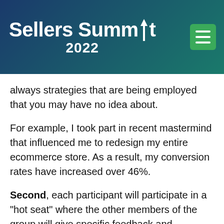Sellers Summit 2022
always strategies that are being employed that you may have no idea about.
For example, I took part in recent mastermind that influenced me to redesign my entire ecommerce store. As a result, my conversion rates have increased over 46%.
Second, each participant will participate in a "hot seat" where the other members of the group will give specific feedback and suggestions for how you can break through your current challenge.